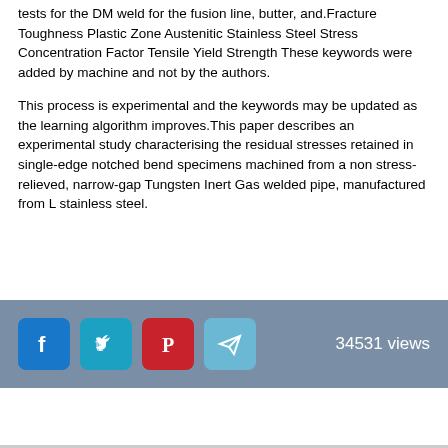tests for the DM weld for the fusion line, butter, and.Fracture Toughness Plastic Zone Austenitic Stainless Steel Stress Concentration Factor Tensile Yield Strength These keywords were added by machine and not by the authors.
This process is experimental and the keywords may be updated as the learning algorithm improves.This paper describes an experimental study characterising the residual stresses retained in single-edge notched bend specimens machined from a non stress-relieved, narrow-gap Tungsten Inert Gas welded pipe, manufactured from L stainless steel.
[Figure (infographic): Social sharing bar with Facebook, Twitter, Pinterest, and Telegram icons, showing 34531 views]